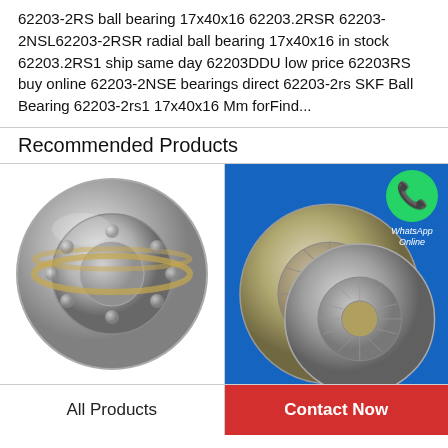62203-2RS ball bearing 17x40x16 62203.2RSR 62203-2NSL62203-2RSR radial ball bearing 17x40x16 in stock 62203.2RS1 ship same day 62203DDU low price 62203RS buy online 62203-2NSE bearings direct 62203-2rs SKF Ball Bearing 62203-2rs1 17x40x16 Mm forFind...
Recommended Products
[Figure (photo): Cylindrical roller ball bearing, silver/chrome metallic, shown at angle]
[Figure (photo): Two thrust bearings on blue background with WhatsApp Online contact badge overlay]
All Products
Contact Now